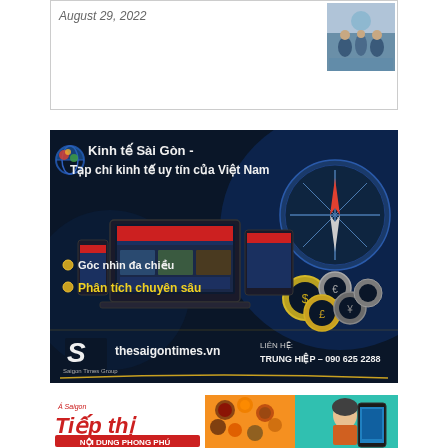August 29, 2022
[Figure (photo): Small thumbnail photo of people at what appears to be an airport or travel setting]
[Figure (infographic): Advertisement banner for Kinh te Sai Gon / thesaigontimes.vn - dark blue background with compass, gears, laptop and mobile devices. Text: Kinh te Sai Gon - Tap chi kinh te uy tin cua Viet Nam, Goc nhin da chieu, Phan tich chuyen sau, thesaigontimes.vn, LIEN HE: TRUNG HIEP - 090 625 2288]
[Figure (infographic): Advertisement banner for Saigon Tiep Thi magazine - NOI DUNG PHONG PHU - showing spices, food and a woman traveler on phone]